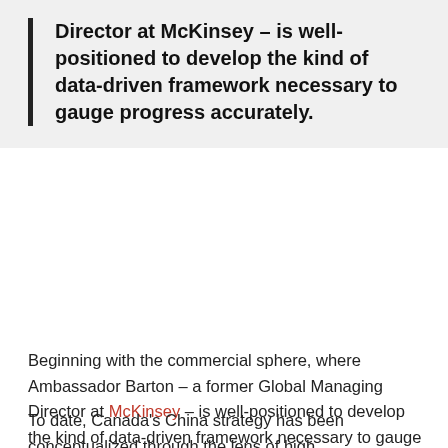Director at McKinsey – is well-positioned to develop the kind of data-driven framework necessary to gauge progress accurately.
Beginning with the commercial sphere, where Ambassador Barton – a former Global Managing Director at McKinsey – is well-positioned to develop the kind of data-driven framework necessary to gauge progress accurately. This should be the first step towards creating a national blueprint for engaging China and achieving Canada's economic and security objectives.
To date, Canada's China strategy has been conceptualized through the lens of high...